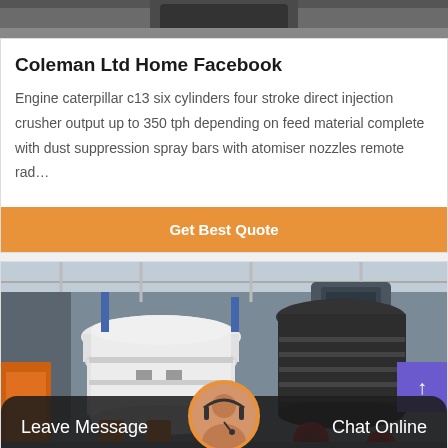[Figure (photo): Top partial image of industrial machinery, dark tones]
Coleman Ltd Home Facebook
Engine caterpillar c13 six cylinders four stroke direct injection crusher output up to 350 tph depending on feed material complete with dust suppression spray bars with atomiser nozzles remote rad…
Get Best Quote
[Figure (photo): Large industrial cone crusher machines in a factory/warehouse setting, white and orange machinery with heavy equipment in background]
Leave Message
Chat Online